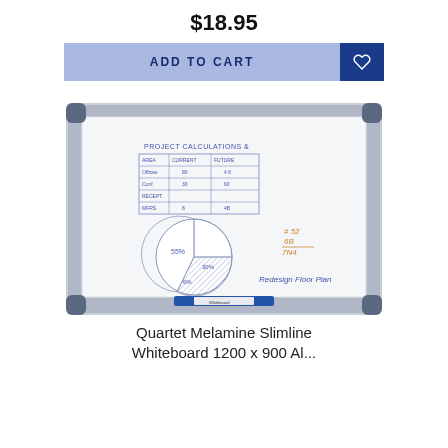$18.95
ADD TO CART
[Figure (photo): Quartet Melamine Slimline whiteboard with aluminum frame and blue corner guards, showing a whiteboard with handwritten project calculations, a pie chart (55%, 30%, 6%), and notes including 'Redesign Floor Plan'. A blue marker tray is attached at the bottom.]
Quartet Melamine Slimline
Whiteboard 1200 x 900 Al...